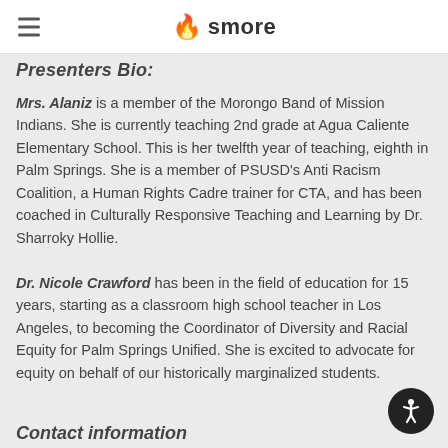smore
Presenters Bio:
Mrs. Alaniz is a member of the Morongo Band of Mission Indians. She is currently teaching 2nd grade at Agua Caliente Elementary School. This is her twelfth year of teaching, eighth in Palm Springs. She is a member of PSUSD's Anti Racism Coalition, a Human Rights Cadre trainer for CTA, and has been coached in Culturally Responsive Teaching and Learning by Dr. Sharroky Hollie.
Dr. Nicole Crawford has been in the field of education for 15 years, starting as a classroom high school teacher in Los Angeles, to becoming the Coordinator of Diversity and Racial Equity for Palm Springs Unified. She is excited to advocate for equity on behalf of our historically marginalized students.
Contact information